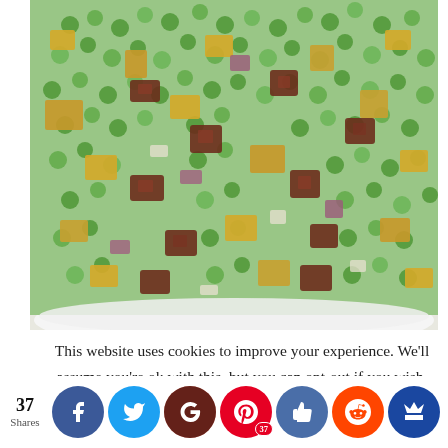[Figure (photo): Close-up photo of a pea salad in a white bowl, containing green peas, cubed cheddar cheese, diced red onion, and bacon pieces coated in a creamy white dressing.]
This website uses cookies to improve your experience. We'll assume you're ok with this, but you can opt-out if you wish.
37 Shares